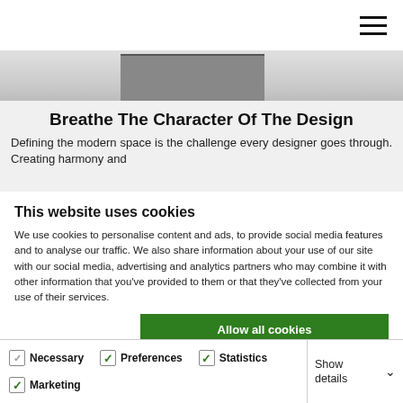[Figure (screenshot): Hamburger menu icon (three horizontal lines) in top right corner of a website]
[Figure (photo): Partial blurred/cropped interior design or furniture photo strip]
Breathe The Character Of The Design
Defining the modern space is the challenge every designer goes through. Creating harmony and
This website uses cookies
We use cookies to personalise content and ads, to provide social media features and to analyse our traffic. We also share information about your use of our site with our social media, advertising and analytics partners who may combine it with other information that you've provided to them or that they've collected from your use of their services.
Allow all cookies
Allow selection
Use necessary cookies only
Necessary	Preferences	Statistics
Marketing		Show details